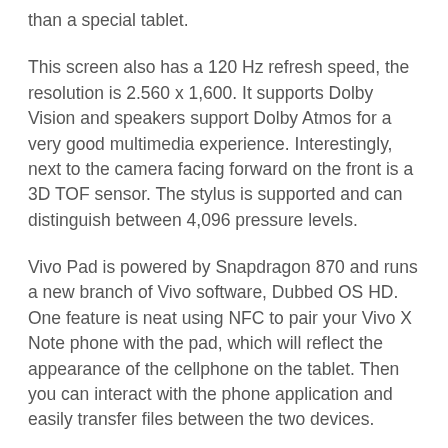than a special tablet.
This screen also has a 120 Hz refresh speed, the resolution is 2.560 x 1,600. It supports Dolby Vision and speakers support Dolby Atmos for a very good multimedia experience. Interestingly, next to the camera facing forward on the front is a 3D TOF sensor. The stylus is supported and can distinguish between 4,096 pressure levels.
Vivo Pad is powered by Snapdragon 870 and runs a new branch of Vivo software, Dubbed OS HD. One feature is neat using NFC to pair your Vivo X Note phone with the pad, which will reflect the appearance of the cellphone on the tablet. Then you can interact with the phone application and easily transfer files between the two devices.
The USB-C port is rated for USB 3.2 Gen1 speeds (5 Gbps), so you can attach fast storage and external